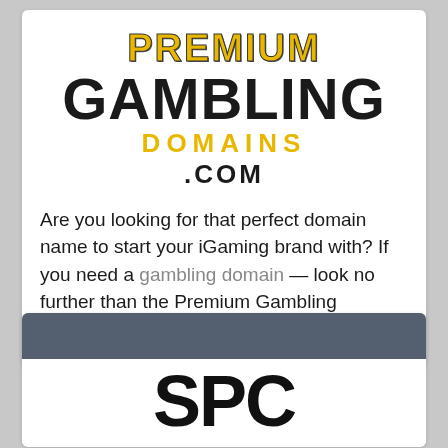[Figure (logo): Premium Gambling Domains .com logo — 'PREMIUM' in gold bold letters, 'GAMBLING' in large black bold letters, 'DOMAINS.COM' in gold and black bold letters]
Are you looking for that perfect domain name to start your iGaming brand with? If you need a gambling domain — look no further than the Premium Gambling Domains store!
[Figure (logo): Partial logo showing large black bold letters 'SPC' or similar at bottom of page, with a grey header bar above]